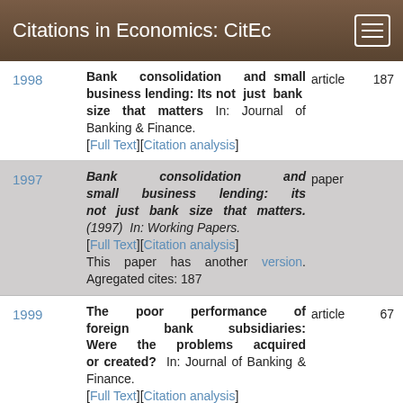Citations in Economics: CitEc
1998 | Bank consolidation and small business lending: Its not just bank size that matters In: Journal of Banking & Finance. [Full Text][Citation analysis] | article | 187
1997 | Bank consolidation and small business lending: its not just bank size that matters.(1997) In: Working Papers. [Full Text][Citation analysis] This paper has another version. Agregated cites: 187 | paper
1999 | The poor performance of foreign bank subsidiaries: Were the problems acquired or created? In: Journal of Banking & Finance. [Full Text][Citation analysis] | article | 67